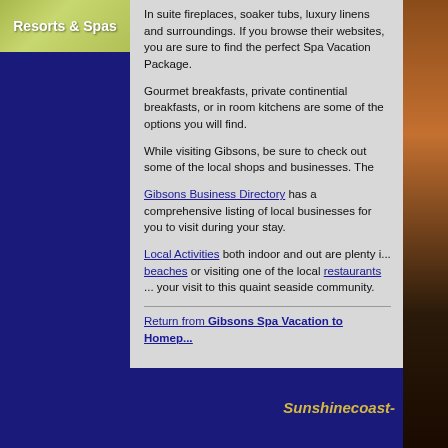Resorts & Spas
In suite fireplaces, soaker tubs, luxury linens and surroundings. If you browse their websites, you are sure to find the perfect Spa Vacation Package.
Gourmet breakfasts, private continential breakfasts, or in room kitchens are some of the options you will find.
While visiting Gibsons, be sure to check out some of the local shops and businesses. The
Gibsons Business Directory has a comprehensive listing of local businesses for you to visit during your stay.
Local Activities both indoor and out are plenty i... beaches or visiting one of the local restaurants ... your visit to this quaint seaside community.
Return from Gibsons Spa Vacation to Homep...
Sunshinecoast-